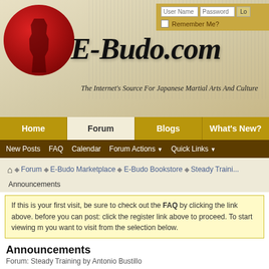[Figure (screenshot): E-Budo.com website header with red circle samurai logo, site title in italic script font, and tagline 'The Internet's Source For Japanese Martial Arts And Culture'. Login fields for User Name and Password with Remember Me checkbox in gold bar at top right.]
E-Budo.com - The Internet's Source For Japanese Martial Arts And Culture
Home | Forum | Blogs | What's New?
New Posts  FAQ  Calendar  Forum Actions  Quick Links
Forum ▶ E-Budo Marketplace ▶ E-Budo Bookstore ▶ Steady Training Announcements
If this is your first visit, be sure to check out the FAQ by clicking the link above. before you can post: click the register link above to proceed. To start viewing m you want to visit from the selection below.
Announcements
Forum: Steady Training by Antonio Bustillo
5th August 2013 until 3rd October 2050
E-budo.com
(E-budo.com's Management)
Administrator